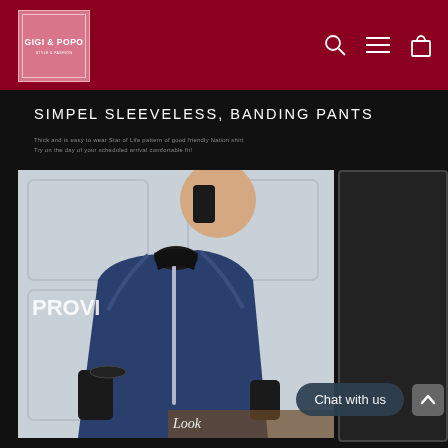[Figure (logo): GIGI & POPO brand logo in pink/rose box with white border on dark red header background]
SIMPEL SLEEVELESS, BANDING PANTS
Thick and is easy to wear Star of Life pattern of good friendly Nation shirt
Try on the day of your scheduled arrival comfortable fit!
[Figure (photo): A young man wearing a navy blue bomber jacket with black collar and cuffs, silver zipper, holding phone to ear, white wall background. Text 'PROVI' partially visible on left side. Partial 'Look' text visible at bottom right.]
Chat with us